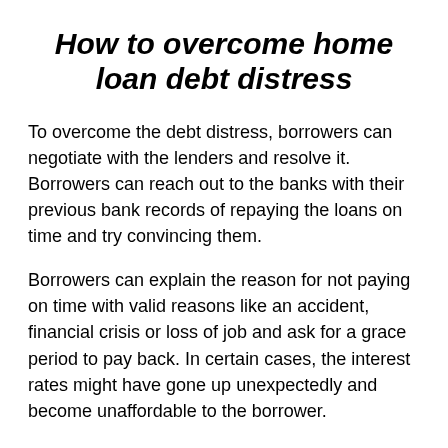How to overcome home loan debt distress
To overcome the debt distress, borrowers can negotiate with the lenders and resolve it. Borrowers can reach out to the banks with their previous bank records of repaying the loans on time and try convincing them.
Borrowers can explain the reason for not paying on time with valid reasons like an accident, financial crisis or loss of job and ask for a grace period to pay back. In certain cases, the interest rates might have gone up unexpectedly and become unaffordable to the borrower.
In such a scenario, the borrower can ask the lender to